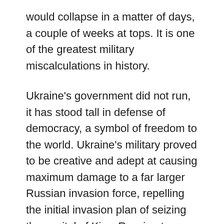would collapse in a matter of days, a couple of weeks at tops. It is one of the greatest military miscalculations in history.
Ukraine's government did not run, it has stood tall in defense of democracy, a symbol of freedom to the world. Ukraine's military proved to be creative and adept at causing maximum damage to a far larger Russian invasion force, repelling the initial invasion plan of seizing the capitol of Kiev. Russian troops still have not defeated a small garrison of Ukrainian fighters, badly untnumbered and wounded, and without supplies of food, water, and ammunition, hold up in the massive steel plant at Mariupol, despite round-the-clock Russian bombardment for